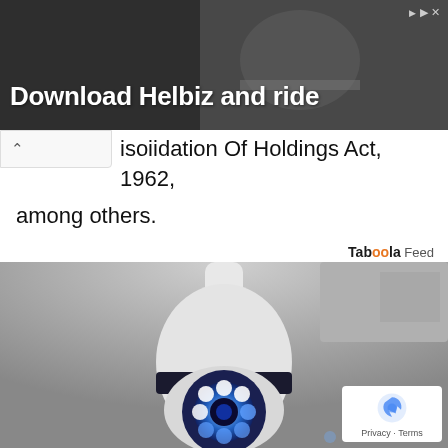[Figure (photo): Advertisement banner for Helbiz scooter app with dark background and person on scooter]
isoiidation Of Holdings Act, 1962, among others.
Taboola Feed
[Figure (photo): Security camera shaped like a light bulb mounted on ceiling, with blue LED lights glowing. Privacy - Terms badge in bottom right corner.]